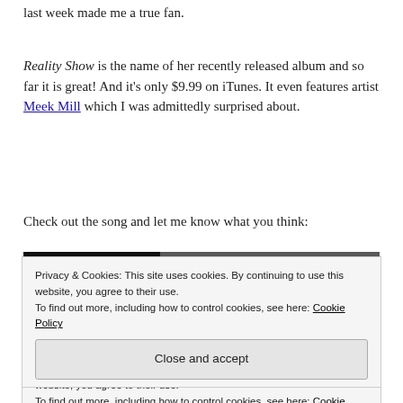last week made me a true fan.
Reality Show is the name of her recently released album and so far it is great! And it's only $9.99 on iTunes. It even features artist Meek Mill which I was admittedly surprised about.
Check out the song and let me know what you think:
[Figure (screenshot): YouTube video embed thumbnail for Jazmine Sullivan - Mascara (Offici...) with artist avatar on left and video thumbnail on right showing partial face]
Privacy & Cookies: This site uses cookies. By continuing to use this website, you agree to their use.
To find out more, including how to control cookies, see here: Cookie Policy
Close and accept